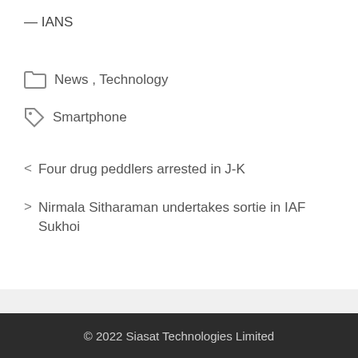— IANS
News , Technology
Smartphone
Four drug peddlers arrested in J-K
Nirmala Sitharaman undertakes sortie in IAF Sukhoi
© 2022 Siasat Technologies Limited